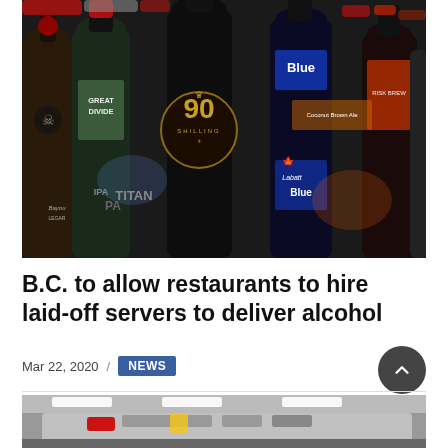[Figure (photo): Close-up photograph of multiple beer bottles including Great Divide, 90 Shilling, Labatt Blue, and other brands crowded together]
B.C. to allow restaurants to hire laid-off servers to deliver alcohol
Mar 22, 2020 / NEWS
[Figure (photo): Partial view of what appears to be emergency vehicles or trucks in a warehouse or loading area]